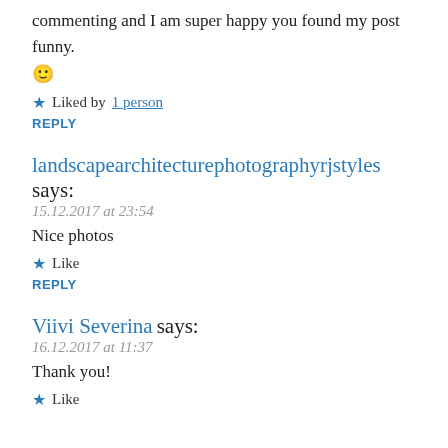commenting and I am super happy you found my post funny. 🙂
★ Liked by 1 person
REPLY
landscapearchitecturephotographyrjstyles says:
15.12.2017 at 23:54
Nice photos
★ Like
REPLY
Viivi Severina says:
16.12.2017 at 11:37
Thank you!
★ Like